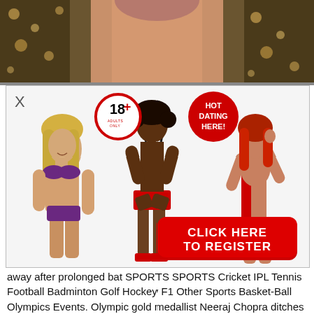[Figure (photo): Top portion of a webpage showing a decorative/ethnic patterned background with a torso visible in the center]
[Figure (photo): Adult dating advertisement banner with three figures, an 18+ badge (ADULTS ONLY), a HOT DATING HERE! badge, and a red CLICK HERE TO REGISTER button]
away after prolonged bat SPORTS SPORTS Cricket IPL Tennis Football Badminton Golf Hockey F1 Other Sports Basket-Ball Olympics Events. Olympic gold medallist Neeraj Chopra ditches sporty look for elegant ethnic bandhgalas.